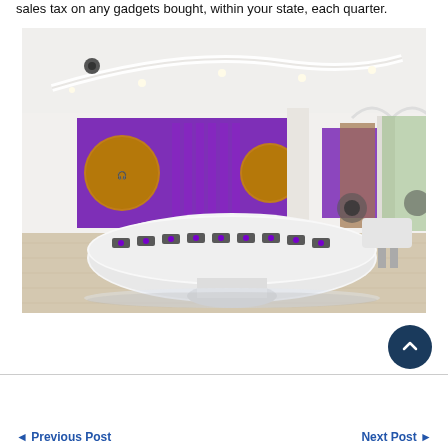sales tax on any gadgets bought, within your state, each quarter.
[Figure (photo): Interior of a modern electronics/gadget retail store with white curved display counters, purple LED-lit wall displays showing accessories and electronics, and a large oval central display counter with devices. The store has a bright, open layout with light wood flooring and white arched ceilings.]
◄ Previous Post     Next Post ►